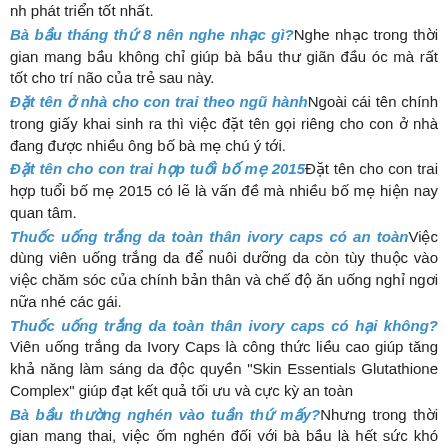nh phát triển tốt nhất.
Bà bầu tháng thứ 8 nên nghe nhạc gì? Nghe nhạc trong thời gian mang bầu không chỉ giúp bà bầu thư giãn đầu óc mà rất tốt cho trí não của trẻ sau này.
Đặt tên ở nhà cho con trai theo ngũ hành Ngoài cái tên chính trong giấy khai sinh ra thì việc đặt tên gọi riêng cho con ở nhà đang được nhiều ông bố bà mẹ chú ý tới.
Đặt tên cho con trai hợp tuổi bố mẹ 2015 Đặt tên cho con trai hợp tuổi bố mẹ 2015 có lẽ là vấn đề mà nhiều bố mẹ hiện nay quan tâm.
Thuốc uống trắng da toàn thân ivory caps có an toàn Việc dùng viên uống trắng da để nuôi dưỡng da còn tùy thuộc vào việc chăm sóc của chính bản thân và chế độ ăn uống nghỉ ngơi nữa nhé các gái.
Thuốc uống trắng da toàn thân ivory caps có hại không? Viên uống trắng da Ivory Caps là công thức liều cao giúp tăng khả năng làm sáng da độc quyền "Skin Essentials Glutathione Complex" giúp đạt kết quả tối ưu và cực kỳ an toàn
Bà bầu thường nghén vào tuần thứ mấy? Nhưng trong thời gian mang thai, việc ốm nghén đối với bà bầu là hết sức khó khăn, điều này thường ảnh hưởng lớn chế độ ăn uống của bà bầu.